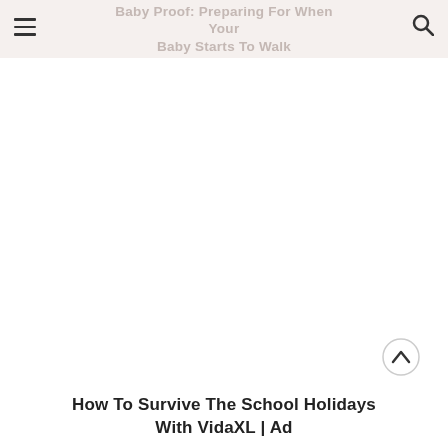Baby Proof: Preparing For When Your Baby Starts To Walk
How To Survive The School Holidays With VidaXL | Ad